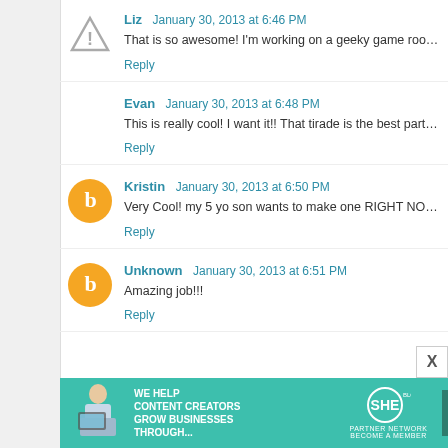Liz  January 30, 2013 at 6:46 PM
That is so awesome! I'm working on a geeky game room these too! I have a couple brothers who are also big fans.
Reply
Evan  January 30, 2013 at 6:48 PM
This is really cool! I want it!! That tirade is the best part of P
Reply
Kristin  January 30, 2013 at 6:50 PM
Very Cool! my 5 yo son wants to make one RIGHT NOW!
Reply
Unknown  January 30, 2013 at 6:51 PM
Amazing job!!!
Reply
[Figure (infographic): SHE Partner Network advertisement banner: teal background, woman with laptop photo, text 'We help content creators grow businesses through...', SHE logo, 'Learn More' button]